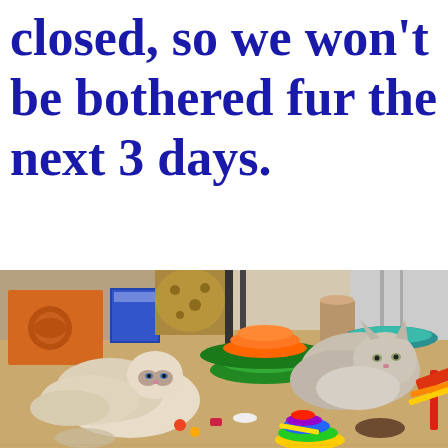closed, so we won't be bothered fur the next 3 days.
[Figure (photo): Two cats lying on a carpeted floor surrounded by various cat toys including a multi-level spinning toy, colorful wand toys, and other small toys. On the left is a lighter colored Ragdoll cat, and on the right is a fluffy grey/brown cat. In the background are cardboard boxes, a cat toy box with holes, and other items.]